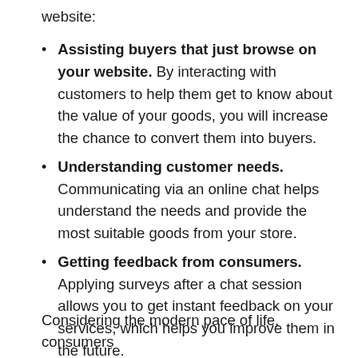website:
Assisting buyers that just browse on your website. By interacting with customers to help them get to know about the value of your goods, you will increase the chance to convert them into buyers.
Understanding customer needs. Communicating via an online chat helps understand the needs and provide the most suitable goods from your store.
Getting feedback from consumers. Applying surveys after a chat session allows you to get instant feedback on your services, which helps you improve them in the future.
Considering the modern pace of life, consumers